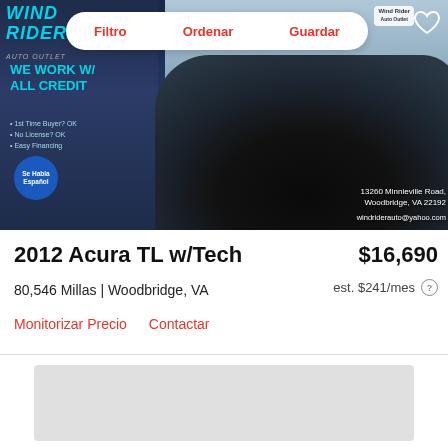[Figure (photo): Car dealership photo showing a black 2012 Acura TL in front of Wind Rider Auto Outlet dealership. Overlay shows 'WE WORK W/ ALL CREDIT' text, dealer address 13260 Minnieville Road, Woodbridge, VA 22192, and email windriderauto@yahoo.com]
Filtro   Ordenar   Guardar
2012 Acura TL w/Tech
$16,690
80,546 Millas | Woodbridge, VA
est. $241/mes
Monitorizar Precio   Contactar